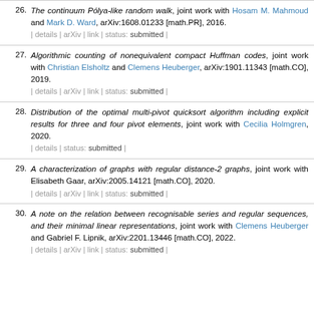26. The continuum Pólya-like random walk, joint work with Hosam M. Mahmoud and Mark D. Ward, arXiv:1608.01233 [math.PR], 2016. | details | arXiv | link | status: submitted |
27. Algorithmic counting of nonequivalent compact Huffman codes, joint work with Christian Elsholtz and Clemens Heuberger, arXiv:1901.11343 [math.CO], 2019. | details | arXiv | link | status: submitted |
28. Distribution of the optimal multi-pivot quicksort algorithm including explicit results for three and four pivot elements, joint work with Cecilia Holmgren, 2020. | details | status: submitted |
29. A characterization of graphs with regular distance-2 graphs, joint work with Elisabeth Gaar, arXiv:2005.14121 [math.CO], 2020. | details | arXiv | link | status: submitted |
30. A note on the relation between recognisable series and regular sequences, and their minimal linear representations, joint work with Clemens Heuberger and Gabriel F. Lipnik, arXiv:2201.13446 [math.CO], 2022. | details | arXiv | link | status: submitted |